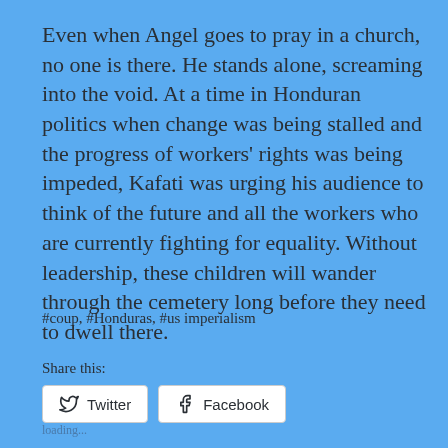Even when Angel goes to pray in a church, no one is there. He stands alone, screaming into the void. At a time in Honduran politics when change was being stalled and the progress of workers' rights was being impeded, Kafati was urging his audience to think of the future and all the workers who are currently fighting for equality. Without leadership, these children will wander through the cemetery long before they need to dwell there.
#coup, #Honduras, #us imperialism
Share this:
[Figure (screenshot): Two share buttons: Twitter (with bird icon) and Facebook (with f icon), white rounded rectangle buttons on light blue background]
loading...